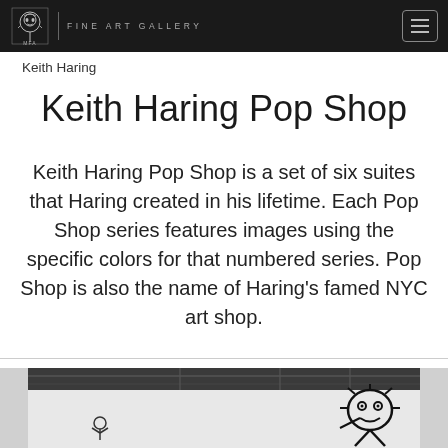MFA FINE ART GALLERY
Keith Haring
Keith Haring Pop Shop
Keith Haring Pop Shop is a set of six suites that Haring created in his lifetime. Each Pop Shop series features images using the specific colors for that numbered series. Pop Shop is also the name of Haring's famed NYC art shop.
[Figure (photo): Black and white photograph of a gallery interior showing a wall with Keith Haring artwork — a large mural featuring bold outline figures characteristic of Haring's style, with industrial ceiling visible above.]